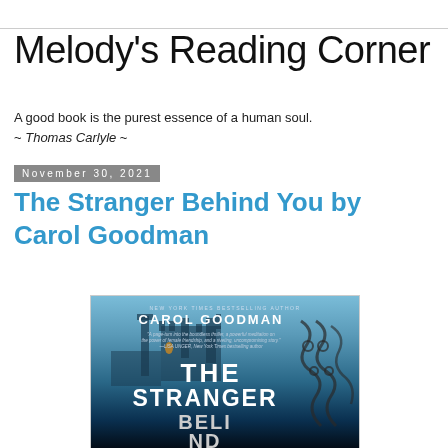Melody's Reading Corner
A good book is the purest essence of a human soul.
~ Thomas Carlyle ~
November 30, 2021
The Stranger Behind You by Carol Goodman
[Figure (photo): Book cover of 'The Stranger Behind You' by Carol Goodman. Dark atmospheric cover showing a gothic castle/building silhouette against a blue-grey sky, with iron gate scrollwork on the right side. Author name CAROL GOODMAN at top, title THE STRANGER BEHIND at bottom in large white text. Small text reads 'NEW YORK TIMES BESTSELLING AUTHOR' and includes a blurb.]